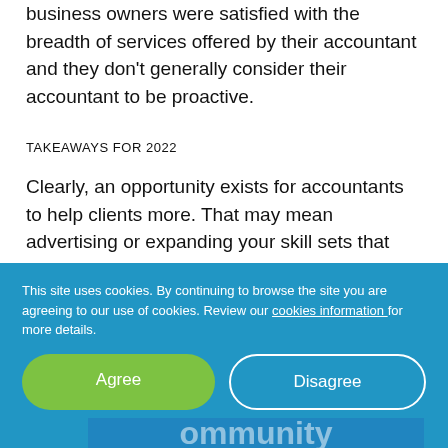business owners were satisfied with the breadth of services offered by their accountant and they don't generally consider their accountant to be proactive.
TAKEAWAYS FOR 2022
Clearly, an opportunity exists for accountants to help clients more. That may mean advertising or expanding your skill sets that revolve around managing cash flow, financial planning, or other CFO/advisor-type services.
[Figure (other): Partial view of a blue promotional box with text 'Tap into the Power of Community' partially obscured by cookie consent banner]
This site uses cookies. By continuing to browse the site you are agreeing to our use of cookies. Review our cookies information for more details.